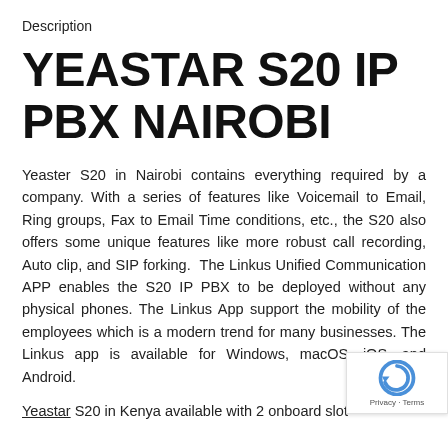Description
YEASTAR S20 IP PBX NAIROBI
Yeaster S20 in Nairobi contains everything required by a company. With a series of features like Voicemail to Email, Ring groups, Fax to Email Time conditions, etc., the S20 also offers some unique features like more robust call recording, Auto clip, and SIP forking.  The Linkus Unified Communication APP enables the S20 IP PBX to be deployed without any physical phones. The Linkus App support the mobility of the employees which is a modern trend for many businesses. The Linkus app is available for Windows, macOS, iOS, and Android.
Yeastar S20 in Kenya available with 2 onboard slot and used for the expansion modules like FXS, FXO, or T1…